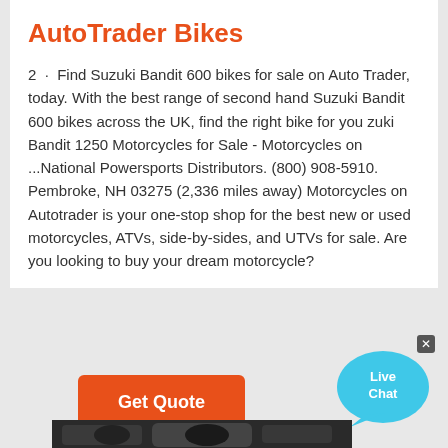AutoTrader Bikes
2  ·  Find Suzuki Bandit 600 bikes for sale on Auto Trader, today. With the best range of second hand Suzuki Bandit 600 bikes across the UK, find the right bike for you zuki Bandit 1250 Motorcycles for Sale - Motorcycles on ...National Powersports Distributors. (800) 908-5910. Pembroke, NH 03275 (2,336 miles away) Motorcycles on Autotrader is your one-stop shop for the best new or used motorcycles, ATVs, side-by-sides, and UTVs for sale. Are you looking to buy your dream motorcycle?
[Figure (other): Live Chat speech bubble icon in cyan/blue color]
[Figure (other): Get Quote orange button]
[Figure (photo): Partial photo of a motorcycle engine or component at the bottom of the page]